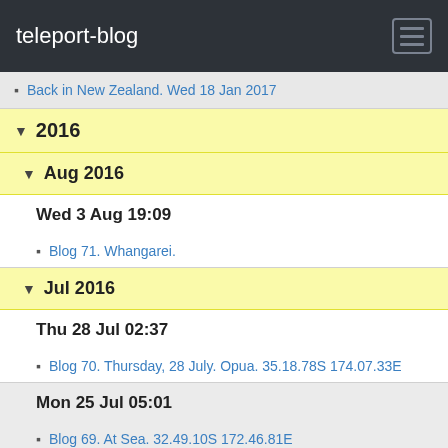teleport-blog
Back in New Zealand. Wed 18 Jan 2017
2016
Aug 2016
Wed 3 Aug 19:09
Blog 71. Whangarei.
Jul 2016
Thu 28 Jul 02:37
Blog 70. Thursday, 28 July. Opua. 35.18.78S 174.07.33E
Mon 25 Jul 05:01
Blog 69. At Sea. 32.49.10S 172.46.81E
Fri 22 Jul 04:44
Blog 68. At Sea. 25.43.75S 169.55.45E
Tue 19 Jul 06:47
Blog 67. Aneityum. 20 14.310 S. 169 46.65